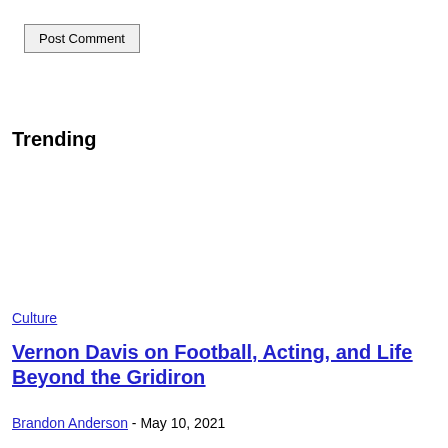Post Comment
Trending
Culture
Vernon Davis on Football, Acting, and Life Beyond the Gridiron
Brandon Anderson - May 10, 2021